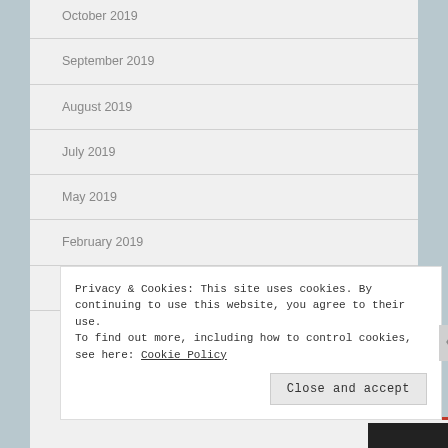October 2019
September 2019
August 2019
July 2019
May 2019
February 2019
November 2018
Privacy & Cookies: This site uses cookies. By continuing to use this website, you agree to their use.
To find out more, including how to control cookies, see here: Cookie Policy
Close and accept